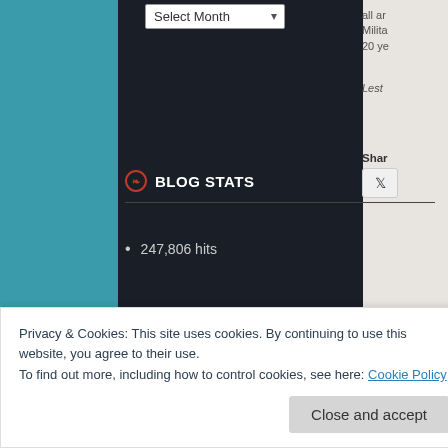[Figure (screenshot): Select Month dropdown widget in the sidebar]
BLOG STATS
247,806 hits
GOOD TO KNOW
I encourage comments and friendly interaction between friends, followers, casual visitors and those with relevant things to say. An exchange of opinions
all ar Milita 20 ye
Lest
Shar
Privacy & Cookies: This site uses cookies. By continuing to use this website, you agree to their use.
To find out more, including how to control cookies, see here: Cookie Policy
Close and accept